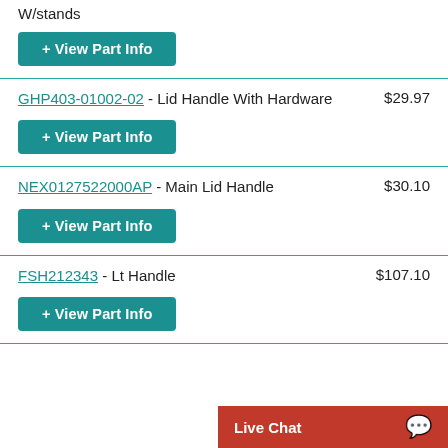W/stands
+ View Part Info
GHP403-01002-02 - Lid Handle With Hardware  $29.97
+ View Part Info
NEX0127522000AP - Main Lid Handle  $30.10
+ View Part Info
FSH212343 - Lt Handle  $107.10
+ View Part Info
Live Chat